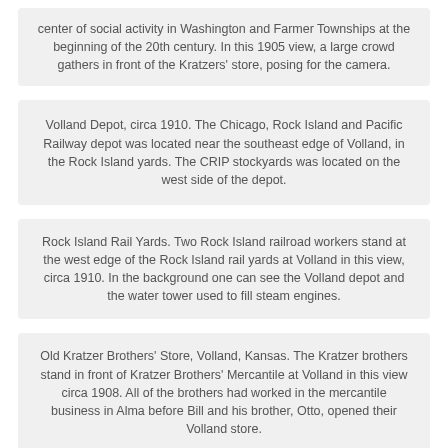center of social activity in Washington and Farmer Townships at the beginning of the 20th century. In this 1905 view, a large crowd gathers in front of the Kratzers' store, posing for the camera.
Volland Depot, circa 1910. The Chicago, Rock Island and Pacific Railway depot was located near the southeast edge of Volland, in the Rock Island yards. The CRIP stockyards was located on the west side of the depot.
Rock Island Rail Yards. Two Rock Island railroad workers stand at the west edge of the Rock Island rail yards at Volland in this view, circa 1910. In the background one can see the Volland depot and the water tower used to fill steam engines.
Old Kratzer Brothers' Store, Volland, Kansas. The Kratzer brothers stand in front of Kratzer Brothers' Mercantile at Volland in this view circa 1908. All of the brothers had worked in the mercantile business in Alma before Bill and his brother, Otto, opened their Volland store.